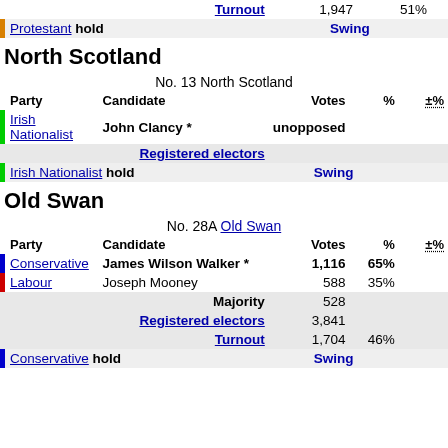| Party | Candidate | Votes | % | ±% |
| --- | --- | --- | --- | --- |
| Turnout |  | 1,947 | 51% |  |
| Protestant hold |  | Swing |  |  |
North Scotland
No. 13 North Scotland
| Party | Candidate | Votes | % | ±% |
| --- | --- | --- | --- | --- |
| Irish Nationalist | John Clancy * | unopposed |  |  |
| Registered electors |  |  |  |  |
| Irish Nationalist hold |  | Swing |  |  |
Old Swan
No. 28A Old Swan
| Party | Candidate | Votes | % | ±% |
| --- | --- | --- | --- | --- |
| Conservative | James Wilson Walker * | 1,116 | 65% |  |
| Labour | Joseph Mooney | 588 | 35% |  |
|  | Majority | 528 |  |  |
|  | Registered electors | 3,841 |  |  |
|  | Turnout | 1,704 | 46% |  |
| Conservative hold |  | Swing |  |  |